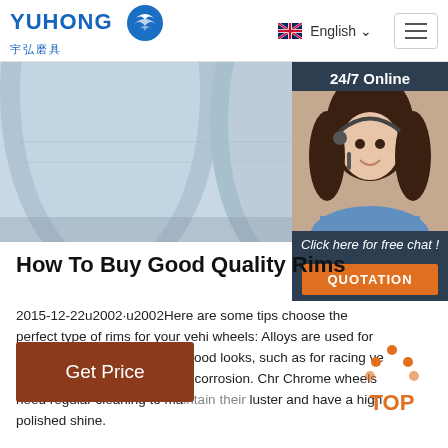YUHONG 宇弘磨具 | English
[Figure (photo): Close-up photo of blue abrasive grinding wheels/discs, light blue color, industrial abrasive products]
How To Buy Good Quality Rims
2015-12-22u2002·u2002Here are some tips choose the perfect type of rims for your vehi wheels: Alloys are used for applications whe speed and good looks, such as for racing ve are also relatively resistant to corrosion. Chr Chrome wheels need regular cleaning to maintain their luster and have a high polished shine.